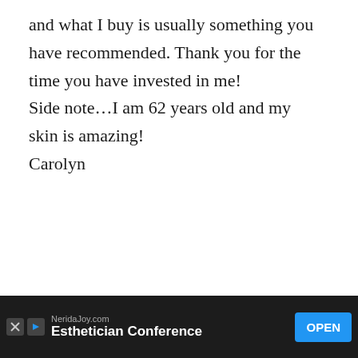and what I buy is usually something you have recommended. Thank you for the time you have invested in me!
Side note…I am 62 years old and my skin is amazing!
Carolyn
Jenni
October 6, 2018 at 4:22 pm
[Figure (other): What's Next panel with thumbnail image and 'Life Lately-Living...' label]
[Figure (other): Advertisement bar: NeridaJoy.com Esthetician Conference with OPEN button]